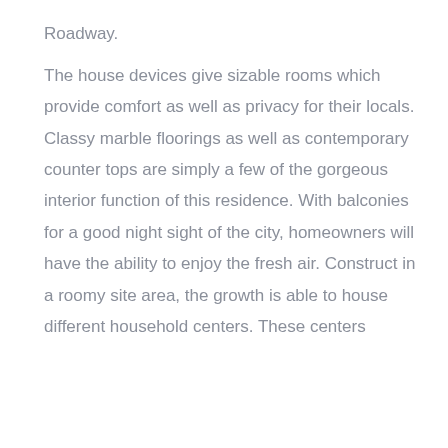Roadway.

The house devices give sizable rooms which provide comfort as well as privacy for their locals. Classy marble floorings as well as contemporary counter tops are simply a few of the gorgeous interior function of this residence. With balconies for a good night sight of the city, homeowners will have the ability to enjoy the fresh air. Construct in a roomy site area, the growth is able to house different household centers. These centers